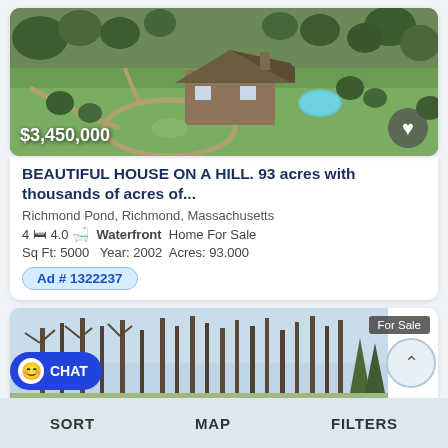[Figure (photo): Aerial view of a large house with pool, surrounded by trees and circular driveway, with price tag $3,450,000 and heart/favorite button]
BEAUTIFUL HOUSE ON A HILL. 93 acres with thousands of acres of...
Richmond Pond, Richmond, Massachusetts
4 [bed icon] 4.0 [bath icon] Waterfront Home For Sale
Sq Ft: 5000  Year: 2002 Acres: 93.000
Ad # 1322237
[Figure (photo): Forest/wooded property listing photo with 'For Sale' badge in upper right corner]